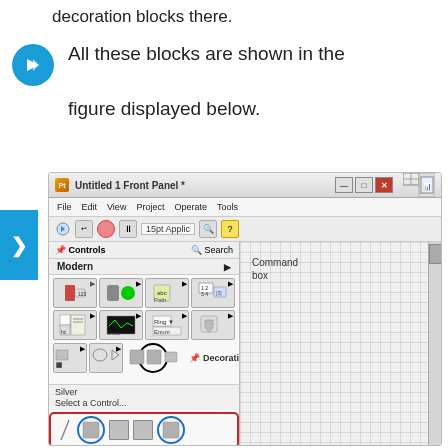decoration blocks there.
All these blocks are shown in the figure displayed below.
[Figure (screenshot): LabVIEW Front Panel screenshot showing the Controls palette with Modern controls expanded, Decorations sub-palette highlighted with a black circle, and the decorations strip at the bottom highlighted with a red border showing square decoration blocks. Two square items are highlighted with blue circles in the decorations strip.]